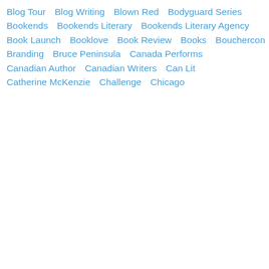Blog Tour
Blog Writing
Blown Red
Bodyguard Series
Bookends
Bookends Literary
Bookends Literary Agency
Book Launch
Booklove
Book Review
Books
Bouchercon
Branding
Bruce Peninsula
Canada Performs
Canadian Author
Canadian Writers
Can Lit
Catherine McKenzie
Challenge
Chicago